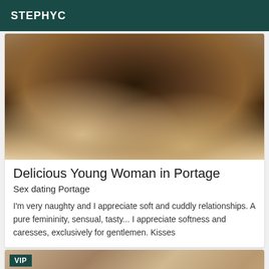STEPHYC
[Figure (photo): Close-up photo of a person's legs/body]
Delicious Young Woman in Portage
Sex dating Portage
I'm very naughty and I appreciate soft and cuddly relationships. A pure femininity, sensual, tasty... I appreciate softness and caresses, exclusively for gentlemen. Kisses
[Figure (photo): Close-up photo with VIP badge overlay]